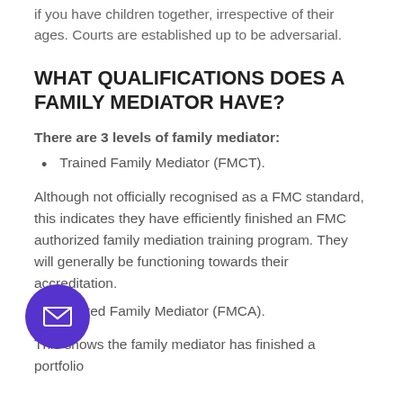if you have children together, irrespective of their ages. Courts are established up to be adversarial.
WHAT QUALIFICATIONS DOES A FAMILY MEDIATOR HAVE?
There are 3 levels of family mediator:
Trained Family Mediator (FMCT).
Although not officially recognised as a FMC standard, this indicates they have efficiently finished an FMC authorized family mediation training program. They will generally be functioning towards their accreditation.
Accredited Family Mediator (FMCA).
This shows the family mediator has finished a portfolio